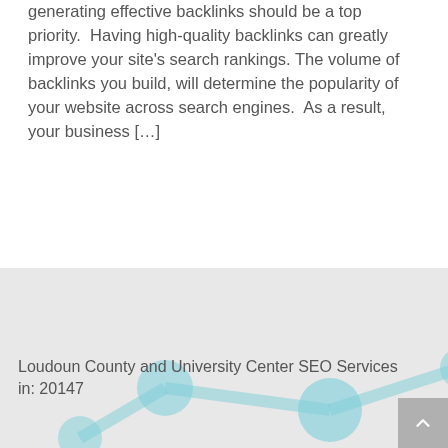generating effective backlinks should be a top priority.  Having high-quality backlinks can greatly improve your site's search rankings. The volume of backlinks you build, will determine the popularity of your website across search engines.  As a result, your business […]
Read more
Loudoun County and University Center SEO Services in: 20147